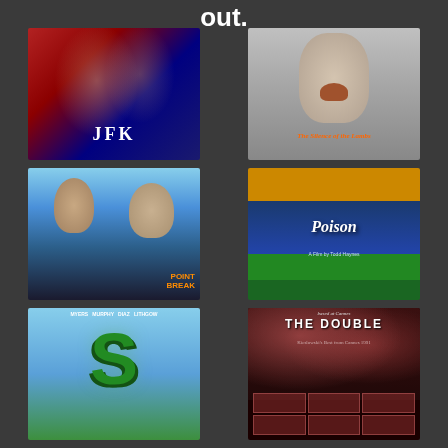out.
[Figure (photo): JFK movie poster with red, white, and blue American flag imagery, faces of actors, text reading JFK]
[Figure (photo): The Silence of the Lambs movie poster showing a woman's face with a death's-head moth over her mouth, orange title text]
[Figure (photo): Point Break movie poster showing two male actors, surfing/action imagery, orange title text Point Break]
[Figure (photo): Poison movie poster with orange top, blue middle wave pattern with Poison title in white italic script, green bottom section]
[Figure (photo): Shrek animated movie poster showing large green S letter, characters at bottom, blue sky background]
[Figure (photo): The Double Life of Veronique movie poster with dark red tones, grid images, white bold title text THE DOUBLE]